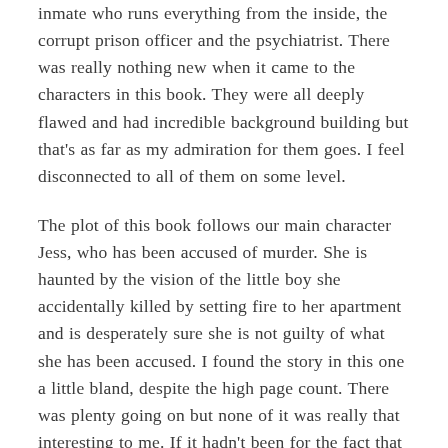inmate who runs everything from the inside, the corrupt prison officer and the psychiatrist. There was really nothing new when it came to the characters in this book. They were all deeply flawed and had incredible background building but that's as far as my admiration for them goes. I feel disconnected to all of them on some level.
The plot of this book follows our main character Jess, who has been accused of murder. She is haunted by the vision of the little boy she accidentally killed by setting fire to her apartment and is desperately sure she is not guilty of what she has been accused. I found the story in this one a little bland, despite the high page count. There was plenty going on but none of it was really that interesting to me. If it hadn't been for the fact that I read this as part of 25 in 5, I definitely wouldn't have finished this book in the space of a day.